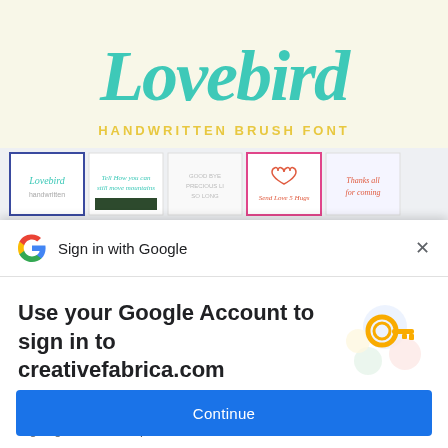[Figure (screenshot): Lovebird handwritten brush font preview with teal cursive lettering on cream background, with subtitle 'HANDWRITTEN BRUSH FONT' in yellow, and a row of 5 thumbnail preview cards below]
[Figure (screenshot): Google Sign In dialog: Google logo and 'Sign in with Google' header with X close button, then 'Use your Google Account to sign in to creativefabrica.com' heading, 'No more passwords to remember. Signing in is fast, simple and secure.' subtitle, a key/security illustration, and a blue Continue button]